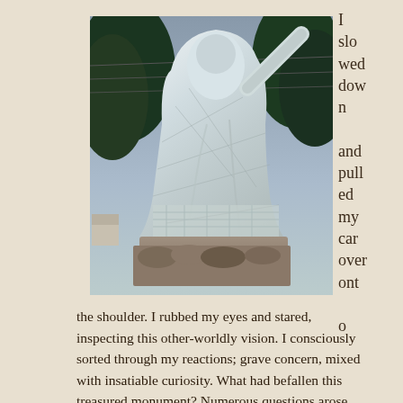[Figure (photo): A statue or figure draped in white netting or mesh fabric, seated on a stone base, with trees in the background. The white covering obscures the statue completely, creating a ghostly appearance.]
I slowed down and pulled my car over onto the shoulder.
the shoulder. I rubbed my eyes and stared, inspecting this other-worldly vision. I consciously sorted through my reactions; grave concern, mixed with insatiable curiosity. What had befallen this treasured monument? Numerous questions arose as I pondered, which dissipated, as more arrived.